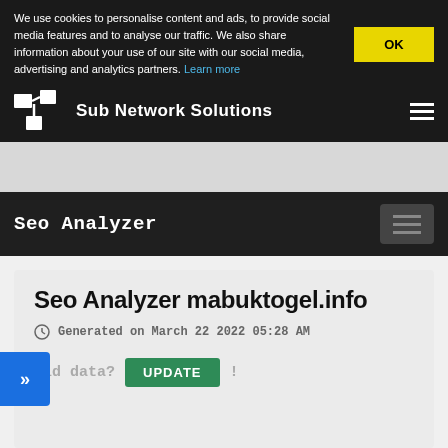We use cookies to personalise content and ads, to provide social media features and to analyse our traffic. We also share information about your use of our site with our social media, advertising and analytics partners. Learn more
Sub Network Solutions
Seo Analyzer
Seo Analyzer mabuktogel.info
Generated on March 22 2022 05:28 AM
Old data? UPDATE !